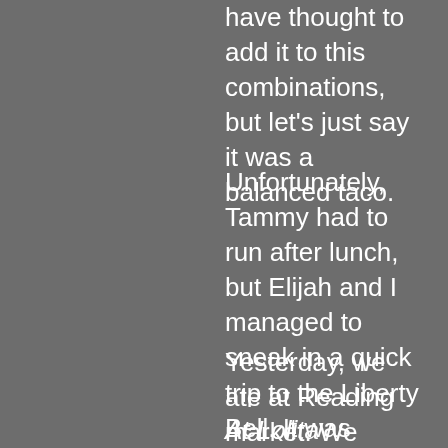have thought to add it to this combinations, but let's just say it was a balanced taco.
Unfortunately, Tammy had to run after lunch, but Elijah and I managed to sneak in a quick trip to the Liberty Bell. It was smaller than I expected, but I appreciate the amount of history and symbolic nature of such an item.
Yesterday, we ate at Reading market. We were so hungry that we took no photos. What a shame, because it was a delicious sandwich with roasted whole anaheim peppers and lots of yummy brisket and sausage..
At Lolita